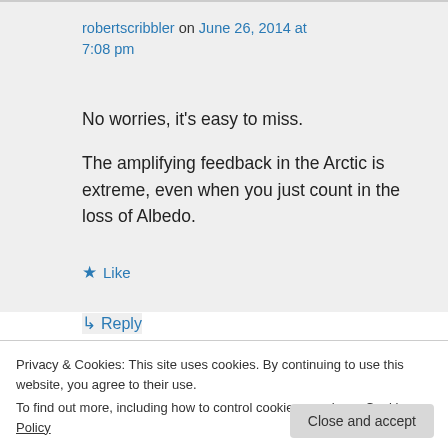robertscribbler on June 26, 2014 at 7:08 pm
No worries, it's easy to miss.

The amplifying feedback in the Arctic is extreme, even when you just count in the loss of Albedo.
★ Like
↳ Reply
Privacy & Cookies: This site uses cookies. By continuing to use this website, you agree to their use.
To find out more, including how to control cookies, see here: Cookie Policy
Close and accept
It's worth noting that the loss of ice